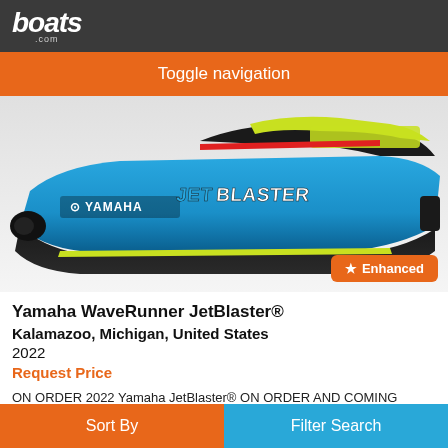boats.com
Toggle navigation
[Figure (photo): Side view of a Yamaha WaveRunner JetBlaster personal watercraft in blue, yellow-green (chartreuse), and black color scheme with 'JETBLASTER' text on the hull and Yamaha logo visible. Enhanced badge in orange in the bottom right.]
Yamaha WaveRunner JetBlaster®
Kalamazoo, Michigan, United States
2022
Request Price
ON ORDER 2022 Yamaha JetBlaster® ON ORDER AND COMING SOON!
Sort By | Filter Search